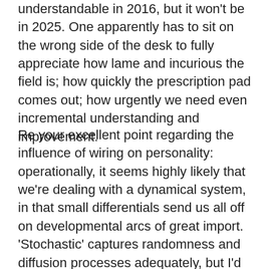understandable in 2016, but it won't be in 2025. One apparently has to sit on the wrong side of the desk to fully appreciate how lame and incurious the field is; how quickly the prescription pad comes out; how urgently we need even incremental understanding and improvement.
Re your excellent point regarding the influence of wiring on personality: operationally, it seems highly likely that we're dealing with a dynamical system, in that small differentials send us all off on developmental arcs of great import. 'Stochastic' captures randomness and diffusion processes adequately, but I'd submit it's not a likely candidate for what's going on, even in nonlinear incarnations; not as an explanation for half of ourselves. Certainly there are dampening and offsetting effects in the sense you allude to, via random inputs, and there are random walks; but nonlinear effects that are driven by sensitivity just make sense intuitively, in that